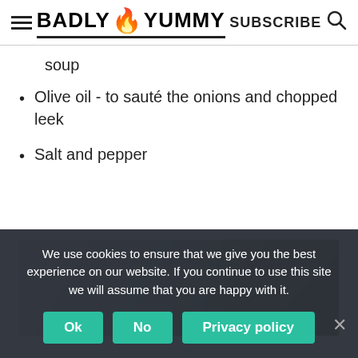BADLY 🔥 YUMMY  SUBSCRIBE 🔍
soup
Olive oil - to sauté the onions and chopped leek
Salt and pepper
[Figure (photo): Close-up photo of leeks/vegetables with blurred background]
We use cookies to ensure that we give you the best experience on our website. If you continue to use this site we will assume that you are happy with it.